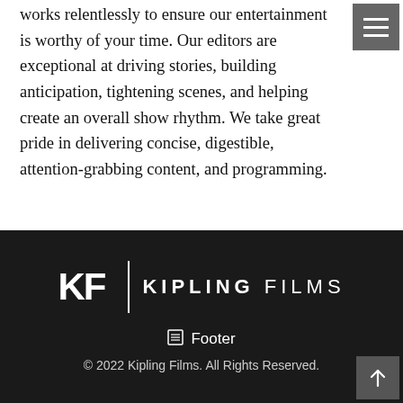works relentlessly to ensure our entertainment is worthy of your time. Our editors are exceptional at driving stories, building anticipation, tightening scenes, and helping create an overall show rhythm. We take great pride in delivering concise, digestible, attention-grabbing content, and programming.
[Figure (logo): Kipling Films logo: KF monogram in bold white with vertical divider line, followed by KIPLING FILMS in spaced white uppercase letters, on dark background]
Footer
© 2022 Kipling Films. All Rights Reserved.